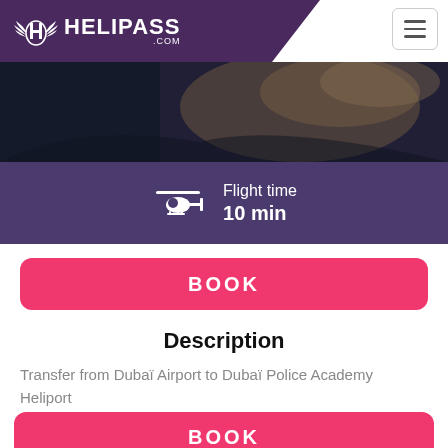[Figure (logo): HeliPass.com logo — white wings and shield icon with HELIPASS .COM text on purple background]
[Figure (photo): Aerial photograph of Dubai coastline viewed from helicopter, dark tones]
Flight time
10 min
BOOK
Description
Transfer from Dubaï Airport to Dubaï Police Academy Heliport
Only 10 minutes of flight.
BOOK